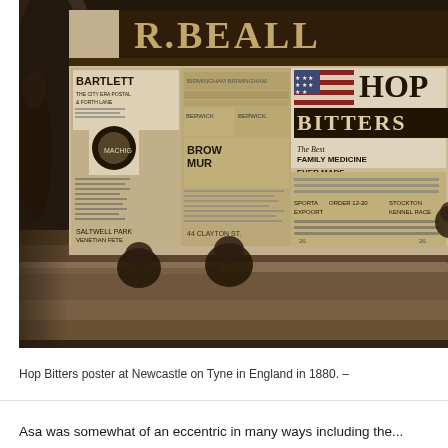[Figure (photo): Historical black and white photograph showing people sitting on the ground in front of a building wall covered with advertising posters including 'R. BEALL', 'HOP BITTERS', 'BARTLETT', 'BERWICK', and other Victorian-era advertisements. Location is Newcastle on Tyne, England, 1880.]
Hop Bitters poster at Newcastle on Tyne in England in 1880. –
Asa was somewhat of an eccentric in many ways including the...